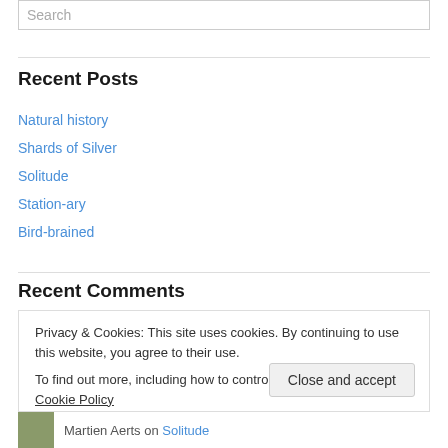Search
Recent Posts
Natural history
Shards of Silver
Solitude
Station-ary
Bird-brained
Recent Comments
Privacy & Cookies: This site uses cookies. By continuing to use this website, you agree to their use. To find out more, including how to control cookies, see here: Cookie Policy
Close and accept
Martien Aerts on Solitude